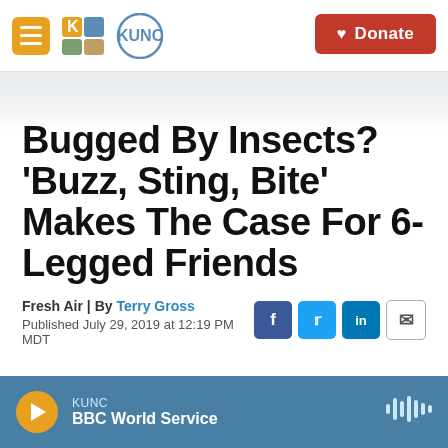KUNC | Donate
Bugged By Insects? 'Buzz, Sting, Bite' Makes The Case For 6-Legged Friends
Fresh Air | By Terry Gross
Published July 29, 2019 at 12:19 PM MDT
LISTEN • 20:07
KUNC
BBC World Service